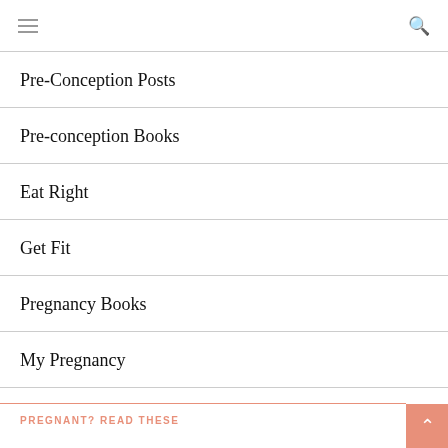≡ [hamburger menu] [search icon]
Pre-Conception Posts
Pre-conception Books
Eat Right
Get Fit
Pregnancy Books
My Pregnancy
PREGNANT? READ THESE